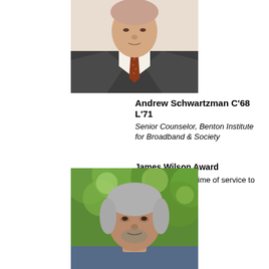[Figure (photo): Headshot of Andrew Schwartzman, older man in dark suit with patterned tie, cropped at torso, light background]
Andrew Schwartzman C'68 L'71
Senior Counselor, Benton Institute for Broadband & Society
James Wilson Award
Awarded for a lifetime of service to the profession
[Figure (photo): Headshot of older man with silver-gray hair, outdoors with green blurred foliage in background]